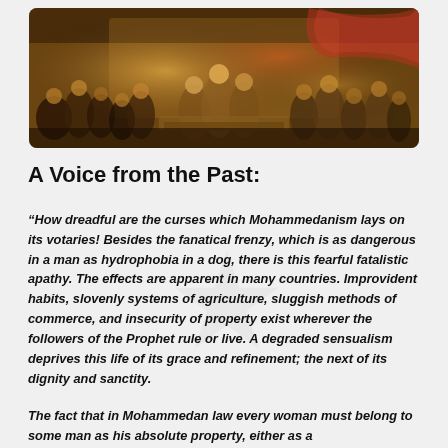[Figure (photo): Historical painting depicting the signing of the Declaration of Independence, showing a large group of men in 18th-century attire gathered in a formal hall.]
A Voice from the Past:
“How dreadful are the curses which Mohammedanism lays on its votaries! Besides the fanatical frenzy, which is as dangerous in a man as hydrophobia in a dog, there is this fearful fatalistic apathy. The effects are apparent in many countries. Improvident habits, slovenly systems of agriculture, sluggish methods of commerce, and insecurity of property exist wherever the followers of the Prophet rule or live. A degraded sensualism deprives this life of its grace and refinement; the next of its dignity and sanctity.
The fact that in Mohammedan law every woman must belong to some man as his absolute property, either as a